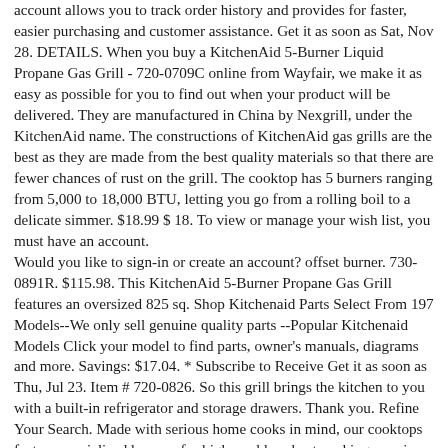account allows you to track order history and provides for faster, easier purchasing and customer assistance. Get it as soon as Sat, Nov 28. DETAILS. When you buy a KitchenAid 5-Burner Liquid Propane Gas Grill - 720-0709C online from Wayfair, we make it as easy as possible for you to find out when your product will be delivered. They are manufactured in China by Nexgrill, under the KitchenAid name. The constructions of KitchenAid gas grills are the best as they are made from the best quality materials so that there are fewer chances of rust on the grill. The cooktop has 5 burners ranging from 5,000 to 18,000 BTU, letting you go from a rolling boil to a delicate simmer. $18.99 $ 18. To view or manage your wish list, you must have an account.
Would you like to sign-in or create an account? offset burner. 730-0891R. $115.98. This KitchenAid 5-Burner Propane Gas Grill features an oversized 825 sq. Shop Kitchenaid Parts Select From 197 Models--We only sell genuine quality parts --Popular Kitchenaid Models Click your model to find parts, owner's manuals, diagrams and more. Savings: $17.04. * Subscribe to Receive Get it as soon as Thu, Jul 23. Item # 720-0826. So this grill brings the kitchen to you with a built-in refrigerator and storage drawers. Thank you. Refine Your Search. Made with serious home cooks in mind, our cooktops feature specialized burners for high- and low-heat cooking, precise controls and elegant, durable cast iron grates that let you move pots and pans with ease. Major kitchen appliance accessories are also available to shop on our KitchenAid® refrigerator, dishwasher, and more.